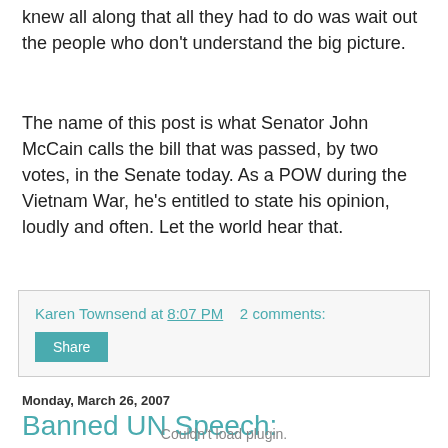knew all along that all they had to do was wait out the people who don't understand the big picture.
The name of this post is what Senator John McCain calls the bill that was passed, by two votes, in the Senate today. As a POW during the Vietnam War, he's entitled to state his opinion, loudly and often. Let the world hear that.
Karen Townsend at 8:07 PM   2 comments:
Share
Monday, March 26, 2007
Banned UN Speech:
Couldn't load plugin.